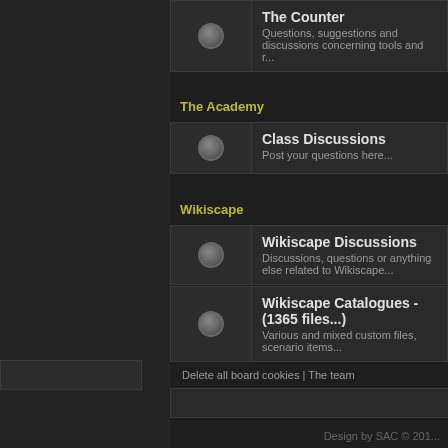The Counter
Questions, suggestions and discussions concerning tools and r...
The Academy
Class Discussions
Post your questions here...
Wikiscape
Wikiscape Discussions
Discussions, questions or anything else related to Wikiscape...
Wikiscape Catalogues - (1365 files...)
Various and mixed custom files, scenario items...
Delete all board cookies | The team
Who is online
Users browsing this forum: No registered users and 1 guest
Design by SAC © 201...